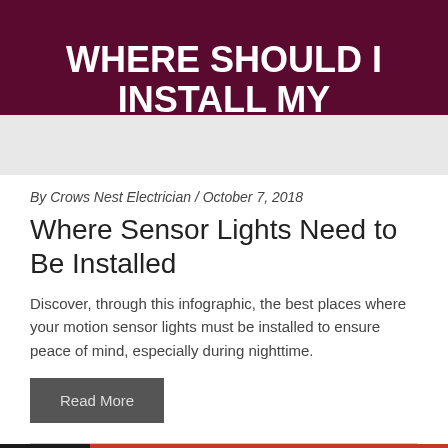[Figure (infographic): Dark maroon/burgundy banner image with bold white text reading 'WHERE SHOULD I INSTALL MY' and a grey lower section partially visible]
By Crows Nest Electrician / October 7, 2018
Where Sensor Lights Need to Be Installed
Discover, through this infographic, the best places where your motion sensor lights must be installed to ensure peace of mind, especially during nighttime.
Read More
[Figure (photo): Partial view of a photo with red background showing people, only the top portion visible at the bottom of the page]